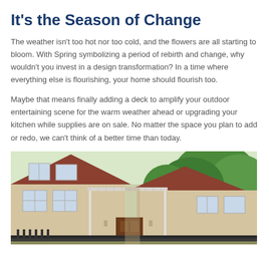It's the Season of Change
The weather isn't too hot nor too cold, and the flowers are all starting to bloom. With Spring symbolizing a period of rebirth and change, why wouldn't you invest in a design transformation? In a time where everything else is flourishing, your home should flourish too.
Maybe that means finally adding a deck to amplify your outdoor entertaining scene for the warm weather ahead or upgrading your kitchen while supplies are on sale. No matter the space you plan to add or redo, we can't think of a better time than today.
[Figure (photo): Exterior photo of a suburban home with a white pergola structure attached to the front, beige/tan siding, brown roof, and lush green trees in the background.]